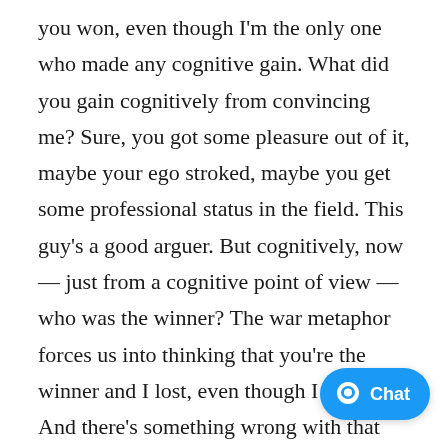you won, even though I'm the only one who made any cognitive gain. What did you gain cognitively from convincing me? Sure, you got some pleasure out of it, maybe your ego stroked, maybe you get some professional status in the field. This guy's a good arguer. But cognitively, now — just from a cognitive point of view — who was the winner? The war metaphor forces us into thinking that you're the winner and I lost, even though I gained. And there's something wrong with that picture. And that's the picture I really want to change if we can.

So how can we find ways to make argun something positive? What we need is new exit